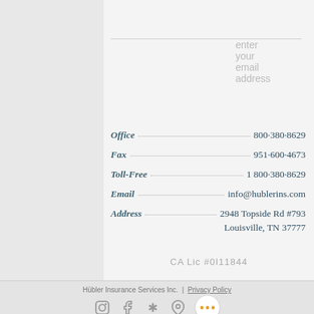enter your email address
Office  800-380-8629
Fax  951-600-4673
Toll-Free  1 800-380-8629
Email  info@hublerins.com
Address  2948 Topside Rd #793
Louisville, TN 37777
CA Lic #0I11844
Hübler Insurance Services Inc. | Privacy Policy